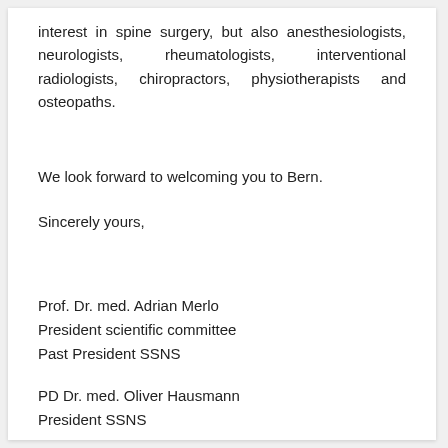interest in spine surgery, but also anesthesiologists, neurologists, rheumatologists, interventional radiologists, chiropractors, physiotherapists and osteopaths.
We look forward to welcoming you to Bern.
Sincerely yours,
Prof. Dr. med. Adrian Merlo
President scientific committee
Past President SSNS
PD Dr. med. Oliver Hausmann
President SSNS